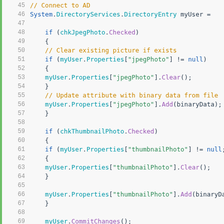[Figure (screenshot): Source code editor screenshot showing C# code lines 45-74 for connecting to Active Directory, handling jpegPhoto and thumbnailPhoto properties. Green vertical bar on left, line numbers in gray, syntax highlighted code with orange comments, blue/teal identifiers, and purple method calls.]